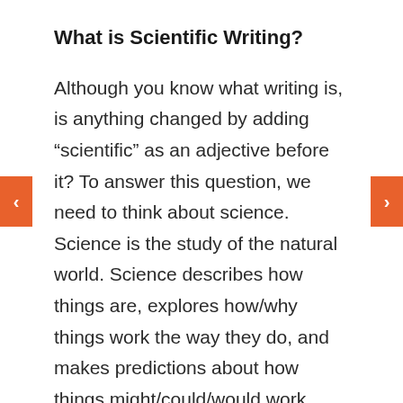What is Scientific Writing?
Although you know what writing is, is anything changed by adding “scientific” as an adjective before it? To answer this question, we need to think about science. Science is the study of the natural world. Science describes how things are, explores how/why things work the way they do, and makes predictions about how things might/could/would work, given what we know. Science uses systematic observation—testing,